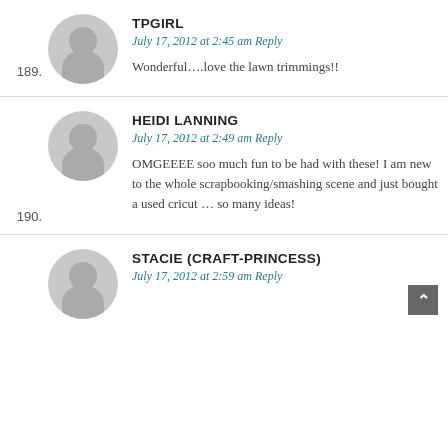189. TPGIRL — July 17, 2012 at 2:45 am Reply — Wonderful….love the lawn trimmings!!
190. HEIDI LANNING — July 17, 2012 at 2:49 am Reply — OMGEEEE soo much fun to be had with these! I am new to the whole scrapbooking/smashing scene and just bought a used cricut … so many ideas!
STACIE (CRAFT-PRINCESS) — July 17, 2012 at 2:59 am Reply